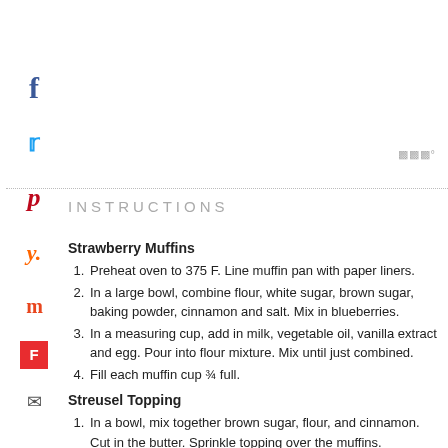[Figure (infographic): Social media share icons on left sidebar: Facebook (blue f), Twitter (blue bird), Pinterest (red p), Yummly (orange y), Myspace-style (orange m), Flipboard (red square), Email envelope, More (three dots)]
[Figure (logo): Wordmark logo in gray: three vertical bars with degree symbol, upper right area]
INSTRUCTIONS
Strawberry Muffins
Preheat oven to 375 F. Line muffin pan with paper liners.
In a large bowl, combine flour, white sugar, brown sugar, baking powder, cinnamon and salt. Mix in blueberries.
In a measuring cup, add in milk, vegetable oil, vanilla extract and egg. Pour into flour mixture. Mix until just combined.
Fill each muffin cup ¾ full.
Streusel Topping
In a bowl, mix together brown sugar, flour, and cinnamon. Cut in the butter. Sprinkle topping over the muffins.
Bake for 22 minutes, or until done.